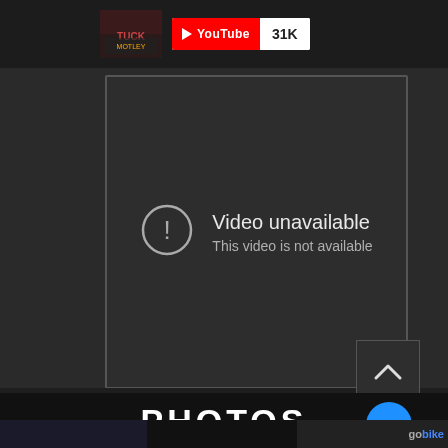[Figure (screenshot): YouTube badge showing play button icon with 'YouTube' text in red and '31K' subscriber/view count in white box]
[Figure (screenshot): YouTube embedded video player showing 'Video unavailable - This video is not available' error message with exclamation icon circle and a small YouTube play button icon in the bottom right corner]
Video unavailable
This video is not available
[Figure (screenshot): Dark background section with a square scroll-up/chevron button in the bottom right]
PHOTOS
[Figure (screenshot): Blue circular button with three white dots (more options) overlapping the PHOTOS text]
[Figure (photo): Bottom strip showing partial thumbnail images including what appears to be a 'GoBike' logo on the right]